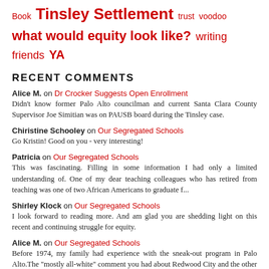Book  Tinsley Settlement  trust  voodoo  what would equity look like?  writing  friends  YA
RECENT COMMENTS
Alice M. on Dr Crocker Suggests Open Enrollment
Didn't know former Palo Alto councilman and current Santa Clara County Supervisor Joe Simitian was on PAUSB board during the Tinsley case.
Chiristine Schooley on Our Segregated Schools
Go Kristin! Good on you - very interesting!
Patricia on Our Segregated Schools
This was fascinating. Filling in some information I had only a limited understanding of. One of my dear teaching colleagues who has retired from teaching was one of two African Americans to graduate f...
Shirley Klock on Our Segregated Schools
I look forward to reading more. And am glad you are shedding light on this recent and continuing struggle for equity.
Alice M. on Our Segregated Schools
Before 1974, my family had experience with the sneak-out program in Palo Alto.The "mostly all-white" comment you had about Redwood City and the other "defendants" today may not be accurate. How are y...
Liz Motter on Our Segregated Schools
Impressive. Understand our history will help us strive for a